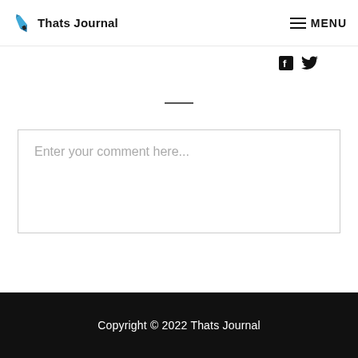Thats Journal   MENU
[Figure (logo): Thats Journal logo with blue pen nib icon and bold black text]
[Figure (infographic): Social media icons: Facebook (f) and Twitter bird icon in dark color]
—
Enter your comment here...
Copyright © 2022 Thats Journal